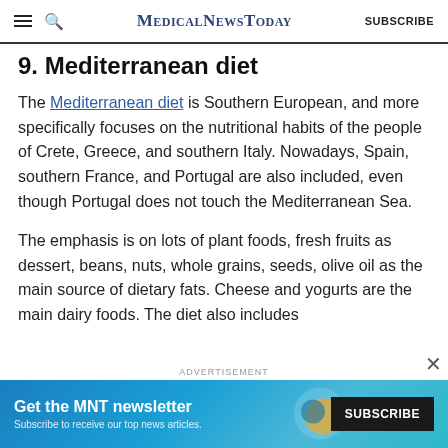MedicalNewsToday SUBSCRIBE
9. Mediterranean diet
The Mediterranean diet is Southern European, and more specifically focuses on the nutritional habits of the people of Crete, Greece, and southern Italy. Nowadays, Spain, southern France, and Portugal are also included, even though Portugal does not touch the Mediterranean Sea.
The emphasis is on lots of plant foods, fresh fruits as dessert, beans, nuts, whole grains, seeds, olive oil as the main source of dietary fats. Cheese and yogurts are the main dairy foods. The diet also includes
ADVERTISEMENT
Get the MNT newsletter — Subscribe to receive our top news articles. SUBSCRIBE